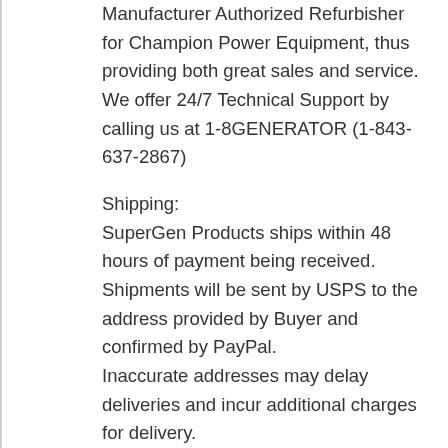Manufacturer Authorized Refurbisher for Champion Power Equipment, thus providing both great sales and service. We offer 24/7 Technical Support by calling us at 1-8GENERATOR (1-843-637-2867)
Shipping:
SuperGen Products ships within 48 hours of payment being received.
Shipments will be sent by USPS to the address provided by Buyer and confirmed by PayPal.
Inaccurate addresses may delay deliveries and incur additional charges for delivery.
Please contact SuperGen Products for